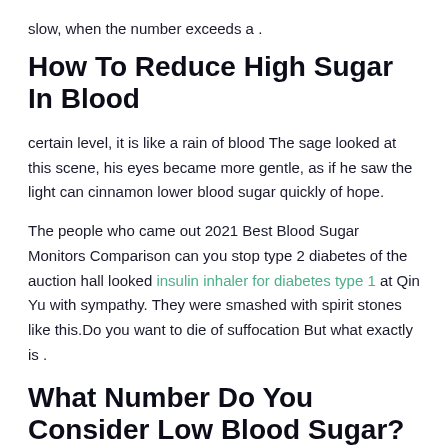slow, when the number exceeds a .
How To Reduce High Sugar In Blood
certain level, it is like a rain of blood The sage looked at this scene, his eyes became more gentle, as if he saw the light can cinnamon lower blood sugar quickly of hope.
The people who came out 2021 Best Blood Sugar Monitors Comparison can you stop type 2 diabetes of the auction hall looked insulin inhaler for diabetes type 1 at Qin Yu with sympathy. They were smashed with spirit stones like this.Do you want to die of suffocation But what exactly is .
What Number Do You Consider Low Blood Sugar?